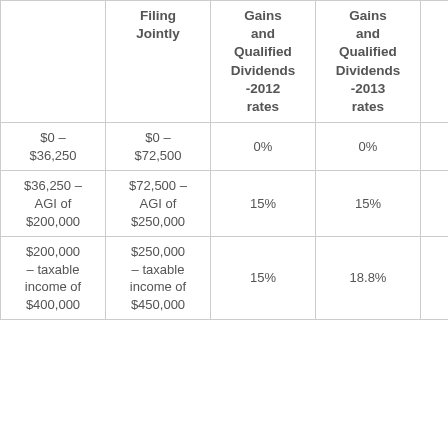|  | Filing Jointly | Gains and Qualified Dividends -2012 rates | Gains and Qualified Dividends -2013 rates | Tax Rate on Investment Income - 2012 v... |
| --- | --- | --- | --- | --- |
| $0 – $36,250 | $0 – $72,500 | 0% | 0% | 0% |
| $36,250 – AGI of $200,000 | $72,500 – AGI of $250,000 | 15% | 15% | 0% |
| $200,000 – taxable income of $400,000 | $250,000 – taxable income of $450,000 | 15% | 18.8% | 3.8% |